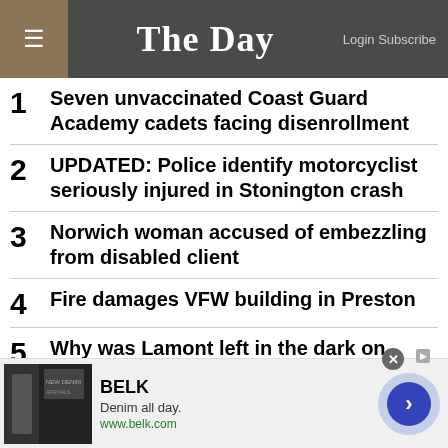The Day — Login Subscribe
1  Seven unvaccinated Coast Guard Academy cadets facing disenrollment
2  UPDATED: Police identify motorcyclist seriously injured in Stonington crash
3  Norwich woman accused of embezzling from disabled client
4  Fire damages VFW building in Preston
5  Why was Lamont left in the dark on subpoenas?
[Figure (other): BELK advertisement banner — Denim all day. www.belk.com]